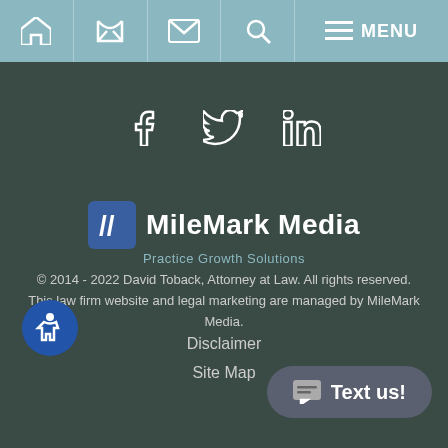Navigation bar with home, phone, email, search, menu icons
[Figure (logo): Social media icons: Facebook, Twitter, LinkedIn in teal color]
[Figure (logo): MileMark Media logo with blue checkmark icon and text 'MileMark Media Practice Growth Solutions']
© 2014 - 2022 David Toback, Attorney at Law. All rights reserved. This law firm website and legal marketing are managed by MileMark Media.
Disclaimer
Site Map
[Figure (illustration): Blue circle accessibility icon (wheelchair symbol)]
[Figure (illustration): Text us! chat button in bottom right corner]